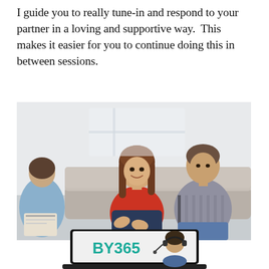I guide you to really tune-in and respond to your partner in a loving and supportive way.  This makes it easier for you to continue doing this in between sessions.
[Figure (photo): A couple sitting on a couch during a therapy session, looking at each other. The woman is wearing a red top and sitting cross-legged, gesturing with her hands. The man is wearing a grey striped shirt. A therapist (seen from behind, wearing blue) is visible on the left holding a clipboard.]
[Figure (screenshot): A laptop screen showing the text 'BY365' in teal/green bold font, with a person wearing a headset visible on the right side of the screen. The laptop has a black frame.]